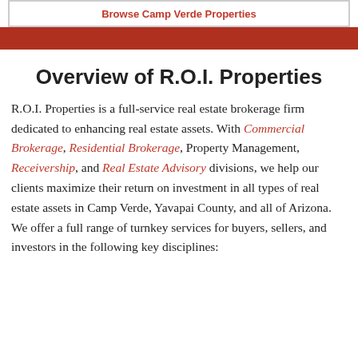Browse Camp Verde Properties
Overview of R.O.I. Properties
R.O.I. Properties is a full-service real estate brokerage firm dedicated to enhancing real estate assets. With Commercial Brokerage, Residential Brokerage, Property Management, Receivership, and Real Estate Advisory divisions, we help our clients maximize their return on investment in all types of real estate assets in Camp Verde, Yavapai County, and all of Arizona. We offer a full range of turnkey services for buyers, sellers, and investors in the following key disciplines: